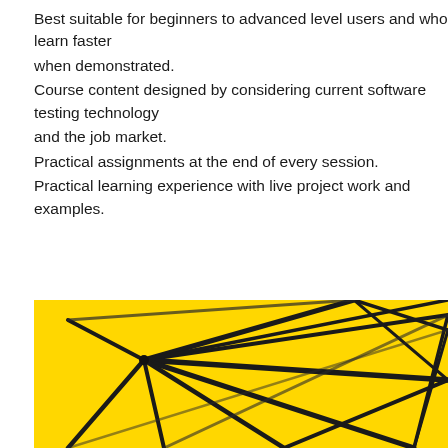Best suitable for beginners to advanced level users and who learn faster when demonstrated.
Course content designed by considering current software testing technology and the job market.
Practical assignments at the end of every session.
Practical learning experience with live project work and examples.
[Figure (photo): Close-up photo of a geometric wire-frame or network structure with dark/black lines on a bright yellow background, shot at an angle showing intersecting lines forming polygon shapes.]